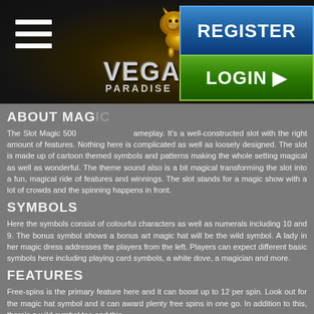Vegas Paradise — REGISTER / LOGIN header with hamburger menu and lion logo
ABOUT MAG[IC 500]
The Slot Magic 500 [offers exciting] gameplay. It's a well-constructed slot with the right amount of features. Nothing here is complicated as well as loosely designed. The slot is made up of cartoon themed symbols and patterns making the whole setting magical as well as wonderful. The theme sound also is a bit magical transforming the slot into a fun, magical ride of features and winnings. The slot stands for a magic show with a lot of crowds and the spinning happens in front.
SYMBOLS
Here the symbols consist of colourful characters as well as numerals including 10 and 9. The bonus symbol shows a bonus art magic hat will be the wild symbol. A lady in her magic dress addresses the players from the left. Players can expect different basic symbols here including playing card symbols, a white dove, a magician and more.
FEATURES
Free-spins is the primary feature here and it can boost up to 12 per spin. Look out for the magic hat symbol and it can award plenty free spins in one go. In addition to this, there's a wild symbol too and this